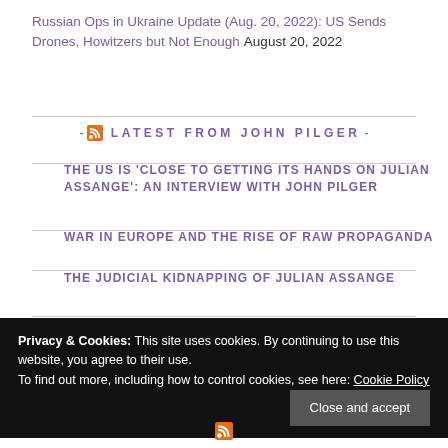Russian Ops in Ukraine Update (Aug. 20, 2022): US Sends Drones, Howitzers but Not Enough August 20, 2022
- LATEST FROM JOHN PILGER -
THE US IS 'CLOSE TO GETTING ITS HANDS ON JULIAN ASSANGE': AN INTERVIEW WITH JOHN PILGER
WAR IN EUROPE AND THE RISE OF RAW PROPAGANDA
THE JUDICIAL KIDNAPPING OF JULIAN ASSANGE
Privacy & Cookies: This site uses cookies. By continuing to use this website, you agree to their use. To find out more, including how to control cookies, see here: Cookie Policy
Close and accept